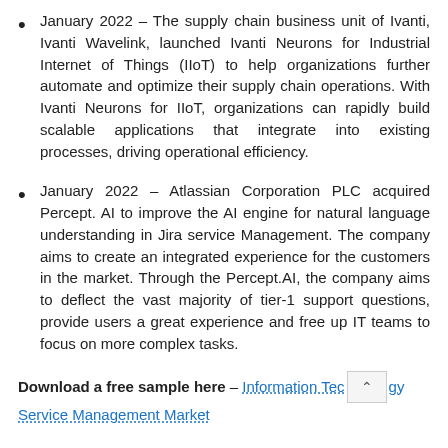January 2022 – The supply chain business unit of Ivanti, Ivanti Wavelink, launched Ivanti Neurons for Industrial Internet of Things (IIoT) to help organizations further automate and optimize their supply chain operations. With Ivanti Neurons for IIoT, organizations can rapidly build scalable applications that integrate into existing processes, driving operational efficiency.
January 2022 – Atlassian Corporation PLC acquired Percept. AI to improve the AI engine for natural language understanding in Jira service Management. The company aims to create an integrated experience for the customers in the market. Through the Percept.AI, the company aims to deflect the vast majority of tier-1 support questions, provide users a great experience and free up IT teams to focus on more complex tasks.
Download a free sample here – Information Technology Service Management Market